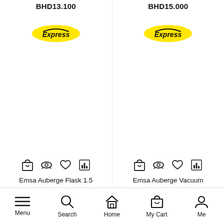BHD13.100
BHD15.000
[Figure (logo): Express delivery badge (yellow background, black italic text 'Express' with arc above)]
[Figure (logo): Express delivery badge (yellow background, black italic text 'Express' with arc above)]
[Figure (other): Product action icons: shopping bag, eye, heart, bar chart]
[Figure (other): Product action icons: shopping bag, eye, heart, bar chart]
Emsa Auberge Flask 1.5 L – Silver/White
Emsa Auberge Vacuum Jug 1L – Chrome
Menu | Search | Home | My Cart | Me